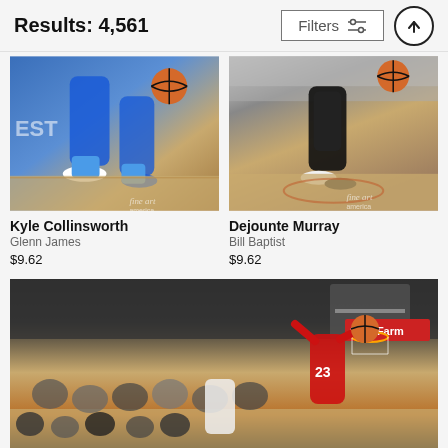Results: 4,561
Filters
[Figure (photo): Basketball action photo showing player in blue uniform dribbling, legs and shoes visible on court. Fine Art America watermark.]
Kyle Collinsworth
Glenn James
$9.62
[Figure (photo): Basketball action photo showing player in dark uniform dribbling, crowd visible in background. Fine Art America watermark.]
Dejounte Murray
Bill Baptist
$9.62
[Figure (photo): Basketball game photo showing player dunking near basket with State Farm advertisement visible, crowd in background.]